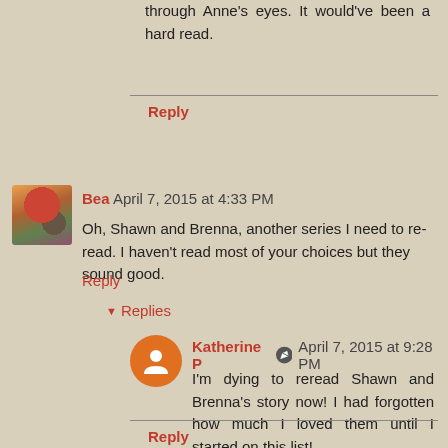through Anne's eyes. It would've been a hard read.
Reply
Bea April 7, 2015 at 4:33 PM
Oh, Shawn and Brenna, another series I need to re-read. I haven't read most of your choices but they sound good.
Reply
Replies
Katherine P April 7, 2015 at 9:28 PM
I'm dying to reread Shawn and Brenna's story now! I had forgotten how much I loved them until I started on this list!
Reply